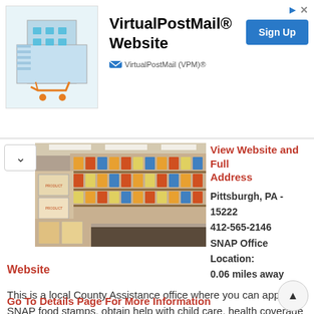[Figure (screenshot): VirtualPostMail advertisement banner with logo image, title 'VirtualPostMail® Website', Sign Up button, and 'VirtualPostMail (VPM)®' branding]
[Figure (photo): Interior of a food pantry or grocery store with shelves stocked with canned goods and packaged food items]
View Website and Full Address
Pittsburgh, PA - 15222
412-565-2146
SNAP Office Location:
0.06 miles away
Website
This is a local County Assistance office where you can apply for SNAP food stamps, obtain help with child care, health coverage assistance, find help for LIHEAP, school meal assistance, etc. You can also visit the online assistance for the State of Pennsylvania called COMPASS at https://www.compas
Go To Details Page For More Information